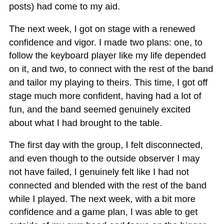posts) had come to my aid.
The next week, I got on stage with a renewed confidence and vigor. I made two plans: one, to follow the keyboard player like my life depended on it, and two, to connect with the rest of the band and tailor my playing to theirs. This time, I got off stage much more confident, having had a lot of fun, and the band seemed genuinely excited about what I had brought to the table.
The first day with the group, I felt disconnected, and even though to the outside observer I may not have failed, I genuinely felt like I had not connected and blended with the rest of the band while I played. The next week, with a bit more confidence and a game plan, I was able to get outside of my own head and focus on the bigger picture. The reduction in my insecurity allowed me to appreciate the fact that I was on stage with incredible musicians, and I believed that I had something to contribute.
I've done a couple more services with this group